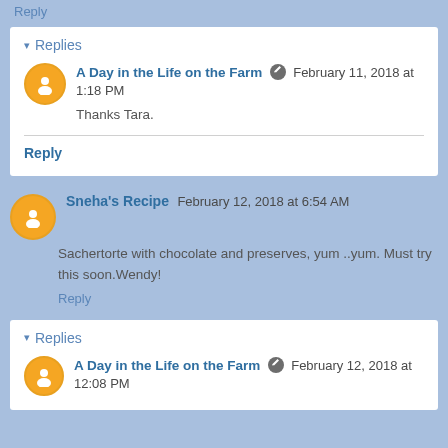Reply
Replies
A Day in the Life on the Farm  February 11, 2018 at 1:18 PM
Thanks Tara.
Reply
Sneha's Recipe  February 12, 2018 at 6:54 AM
Sachertorte with chocolate and preserves, yum ..yum. Must try this soon.Wendy!
Reply
Replies
A Day in the Life on the Farm  February 12, 2018 at 12:08 PM